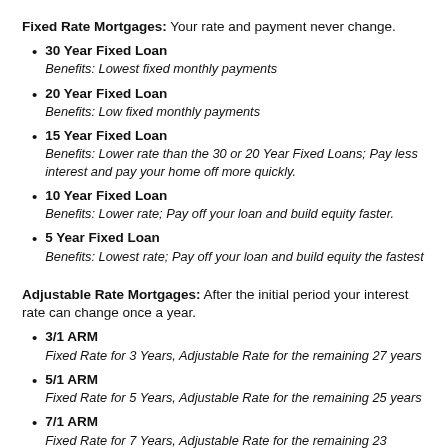Fixed Rate Mortgages: Your rate and payment never change.
30 Year Fixed Loan
Benefits: Lowest fixed monthly payments
20 Year Fixed Loan
Benefits: Low fixed monthly payments
15 Year Fixed Loan
Benefits: Lower rate than the 30 or 20 Year Fixed Loans; Pay less interest and pay your home off more quickly.
10 Year Fixed Loan
Benefits: Lower rate; Pay off your loan and build equity faster.
5 Year Fixed Loan
Benefits: Lowest rate; Pay off your loan and build equity the fastest
Adjustable Rate Mortgages: After the initial period your interest rate can change once a year.
3/1 ARM
Fixed Rate for 3 Years, Adjustable Rate for the remaining 27 years
5/1 ARM
Fixed Rate for 5 Years, Adjustable Rate for the remaining 25 years
7/1 ARM
Fixed Rate for 7 Years, Adjustable Rate for the remaining 23